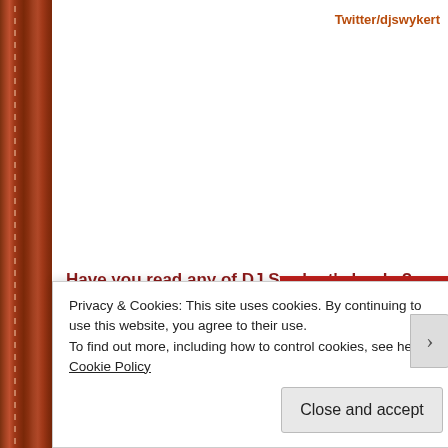Twitter/djswykert
Have you read any of DJ Swykert's books? are you going to? H Tell me your thoughts, I would love to hear from you.
[Figure (other): Red banner with #KCACOLS text and crown logo]
Privacy & Cookies: This site uses cookies. By continuing to use this website, you agree to their use.
To find out more, including how to control cookies, see here: Cookie Policy
Close and accept